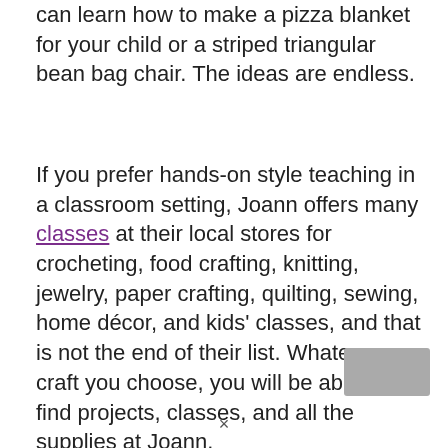can learn how to make a pizza blanket for your child or a striped triangular bean bag chair. The ideas are endless.
If you prefer hands-on style teaching in a classroom setting, Joann offers many classes at their local stores for crocheting, food crafting, knitting, jewelry, paper crafting, quilting, sewing, home décor, and kids' classes, and that is not the end of their list. Whatever craft you choose, you will be able to find projects, classes, and all the supplies at Joann.